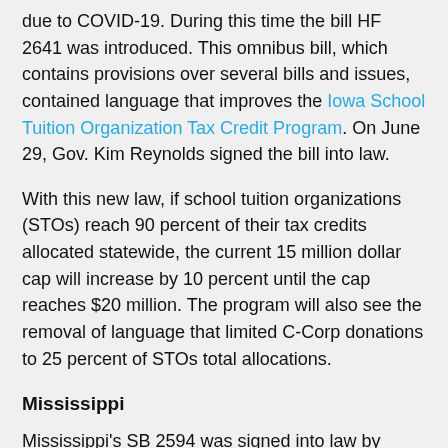due to COVID-19. During this time the bill HF 2641 was introduced. This omnibus bill, which contains provisions over several bills and issues, contained language that improves the Iowa School Tuition Organization Tax Credit Program. On June 29, Gov. Kim Reynolds signed the bill into law.
With this new law, if school tuition organizations (STOs) reach 90 percent of their tax credits allocated statewide, the current 15 million dollar cap will increase by 10 percent until the cap reaches $20 million. The program will also see the removal of language that limited C-Corp donations to 25 percent of STOs total allocations.
Mississippi
Mississippi's SB 2594 was signed into law by